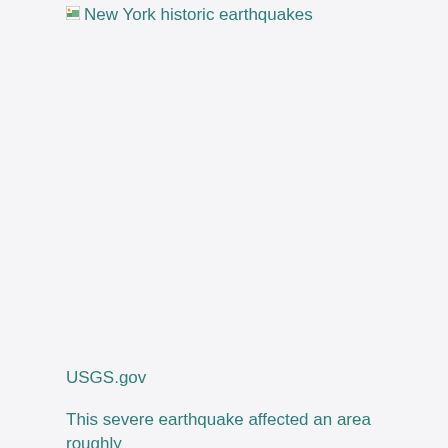[Figure (other): New York historic earthquakes image placeholder with broken image icon and alt text link]
USGS.gov
This severe earthquake affected an area roughly